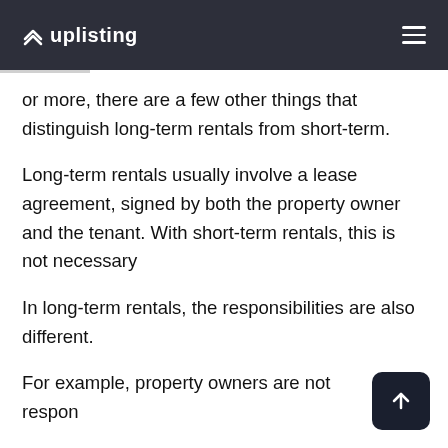uplisting
or more, there are a few other things that distinguish long-term rentals from short-term.
Long-term rentals usually involve a lease agreement, signed by both the property owner and the tenant. With short-term rentals, this is not necessary
In long-term rentals, the responsibilities are also different.
For example, property owners are not responsible